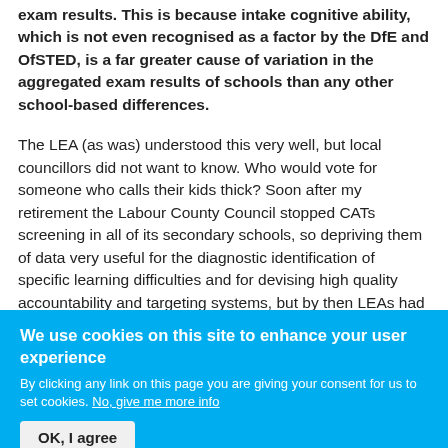exam results. This is because intake cognitive ability, which is not even recognised as a factor by the DfE and OfSTED, is a far greater cause of variation in the aggregated exam results of schools than any other school-based differences.
The LEA (as was) understood this very well, but local councillors did not want to know. Who would vote for someone who calls their kids thick? Soon after my retirement the Labour County Council stopped CATs screening in all of its secondary schools, so depriving them of data very useful for the diagnostic identification of specific learning difficulties and for devising high quality accountability and targeting systems, but by then LEAs had been abolished and, as
We use cookies on this site to enhance your user experience
By clicking any link on this page you are giving your consent for us to set cookies. No, give me more info
OK, I agree